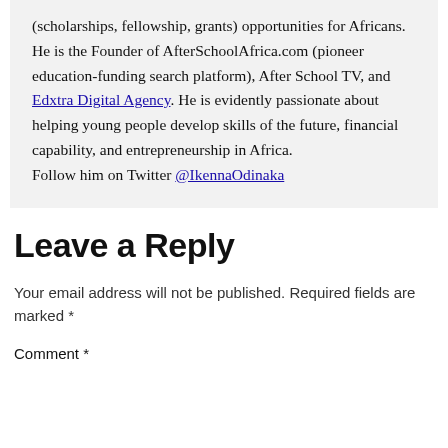(scholarships, fellowship, grants) opportunities for Africans. He is the Founder of AfterSchoolAfrica.com (pioneer education-funding search platform), After School TV, and Edxtra Digital Agency. He is evidently passionate about helping young people develop skills of the future, financial capability, and entrepreneurship in Africa. Follow him on Twitter @IkennaOdinaka
Leave a Reply
Your email address will not be published. Required fields are marked *
Comment *